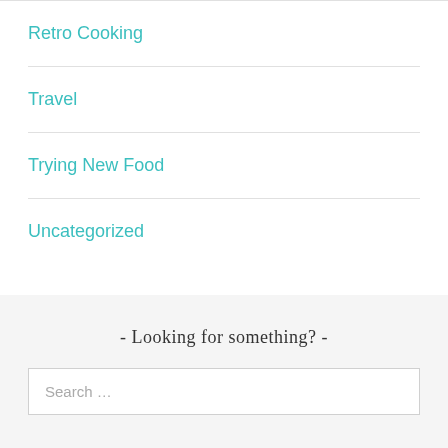Retro Cooking
Travel
Trying New Food
Uncategorized
- Looking for something? -
Search …